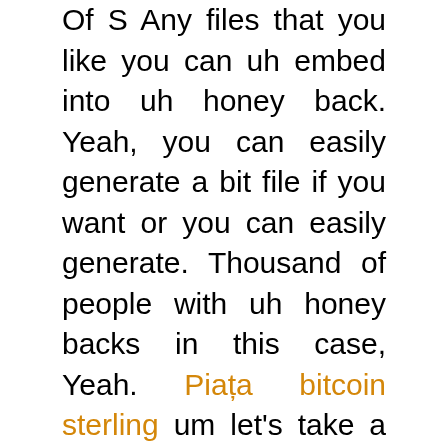Of S Any files that you like you can uh embed into uh honey back. Yeah, you can easily generate a bit file if you want or you can easily generate. Thousand of people with uh honey backs in this case, Yeah. Piața bitcoin sterling um let's take a quick look about the end result.
How does it looks like? Well, let's take a quick example right here. What do you have seen on the right screen right here? Um we have a we create a zip file called secret well uh inside the zip file.
There is a secret folder, and then there's only one single document called super Secret uh document of Pdf file in it.
Will automatically slot at the two new file into the zip file itself. Uh the first will be I mean the first